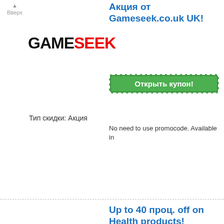▲ Вверх
[Figure (logo): GameSeek logo - black GAME red SEEK text]
Акция от Gameseek.co.uk UK!
Открыть купон!
Тип скидки: Акция
No need to use promocode. Available in
[Figure (logo): GameSeek logo - black GAME red SEEK text]
Up to 40 проц. off on Health products!
Открыть купон!
Тип скидки: Акция
Limited on time. Items are sually dispatched use promocode. The promotion applies t
Up to 50 проц. off on Hobb products!
[Figure (logo): GameSeek logo - black GAME red SEEK text]